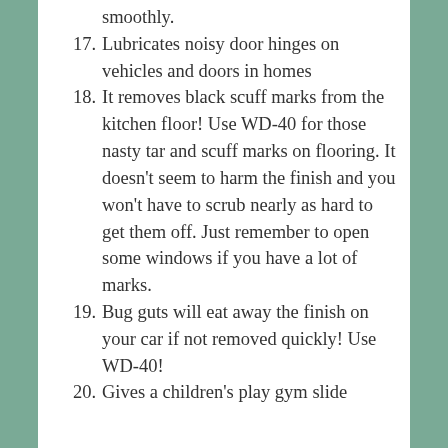smoothly.
17. Lubricates noisy door hinges on vehicles and doors in homes
18. It removes black scuff marks from the kitchen floor! Use WD-40 for those nasty tar and scuff marks on flooring. It doesn’t seem to harm the finish and you won’t have to scrub nearly as hard to get them off. Just remember to open some windows if you have a lot of marks.
19. Bug guts will eat away the finish on your car if not removed quickly! Use WD-40!
20. Gives a children’s play gym slide